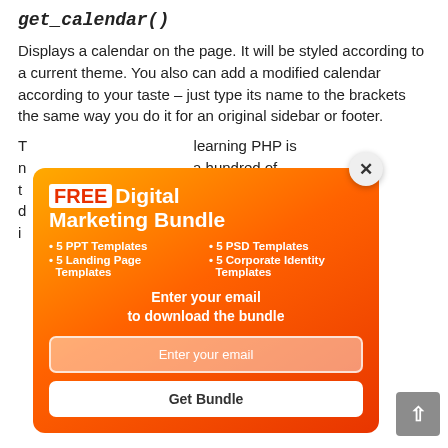get_calendar()
Displays a calendar on the page. It will be styled according to a current theme. You also can add a modified calendar according to your taste – just type its name to the brackets the same way you do it for an original sidebar or footer.
The calendar is rendered by a PHP function. Learning PHP is not necessary for working with WordPress – there a hundred of themes and plugins which allow you to use/tweak even web-design without programming. If you are really interested in PHP, then go to WordPress Codex
[Figure (infographic): Popup modal ad for FREE Digital Marketing Bundle. Contains bullet list of items (5 PPT Templates, 5 PSD Templates, 5 Landing Page Templates, 5 Corporate Identity Templates), email input field, and Get Bundle button.]